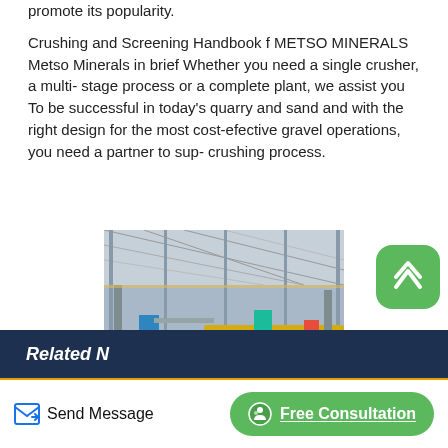promote its popularity.
Crushing and Screening Handbook f METSO MINERALS Metso Minerals in brief Whether you need a single crusher, a multi- stage process or a complete plant, we assist you To be successful in today's quarry and sand and with the right design for the most cost-efective gravel operations, you need a partner to sup- crushing process.
[Figure (photo): Industrial mining/crushing plant interior showing large rotating drum mills, conveyor systems, and structural steel framework in a factory setting.]
Related N...
Send Message
Free Consultation